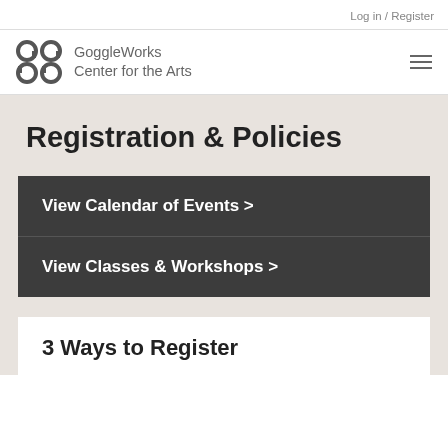Log in / Register
[Figure (logo): GoggleWorks Center for the Arts logo with stylized 'gg' letterform in dark gray]
Registration & Policies
View Calendar of Events >
View Classes & Workshops >
3 Ways to Register